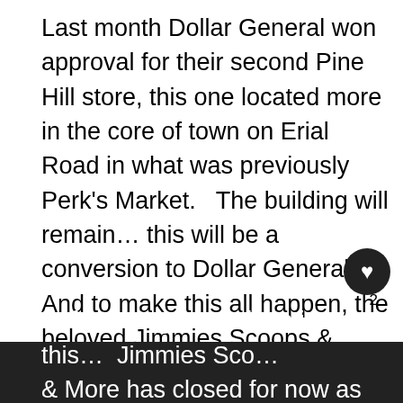Last month Dollar General won approval for their second Pine Hill store, this one located more in the core of town on Erial Road in what was previously Perk's Market.   The building will remain… this will be a conversion to Dollar General!  And to make this all happen, the beloved Jimmies Scoops & More will move across the street to the corner of Erial and 8th, taking over the closed property that was previously TJ's Corner!

One deal.  Two Buildings brought back to life!   And new excitement to a great neighborhood!

Before we get too deep into this…  Jimmies Scoops & More has closed for now as they prepare for